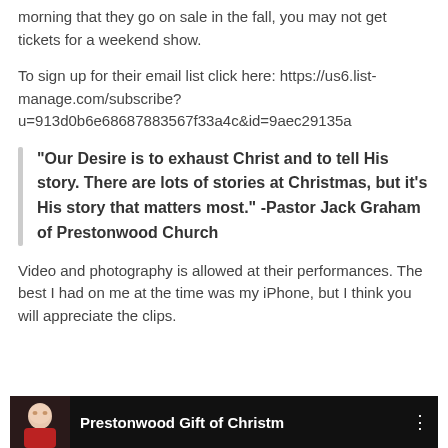morning that they go on sale in the fall, you may not get tickets for a weekend show.
To sign up for their email list click here: https://us6.list-manage.com/subscribe?u=913d0b6e68687883567f33a4c&id=9aec29135a
“Our Desire is to exhaust Christ and to tell His story. There are lots of stories at Christmas, but it’s His story that matters most.” -Pastor Jack Graham of Prestonwood Church
Video and photography is allowed at their performances. The best I had on me at the time was my iPhone, but I think you will appreciate the clips.
[Figure (screenshot): Video thumbnail showing a woman and the text 'Prestonwood Gift of Christm' on a dark background]